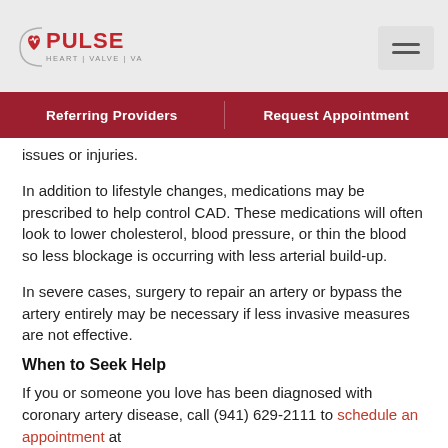Pulse Heart | Valve | Vascular — Referring Providers | Request Appointment
issues or injuries.
In addition to lifestyle changes, medications may be prescribed to help control CAD. These medications will often look to lower cholesterol, blood pressure, or thin the blood so less blockage is occurring with less arterial build-up.
In severe cases, surgery to repair an artery or bypass the artery entirely may be necessary if less invasive measures are not effective.
When to Seek Help
If you or someone you love has been diagnosed with coronary artery disease, call (941) 629-2111 to schedule an appointment at